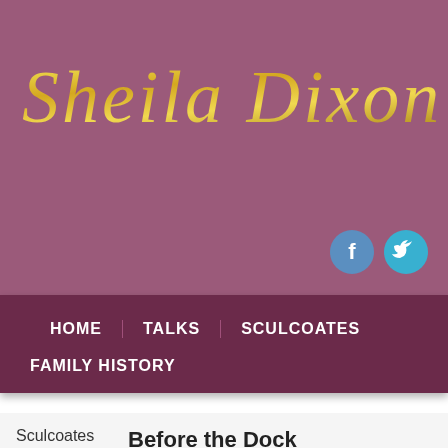Sheila Dixon
[Figure (illustration): Facebook and Twitter social media icon buttons, circular with blue backgrounds]
HOME   TALKS   SCULCOATES   FAMILY HISTORY
Sculcoates
Introduction
Boundaries
Early
Before the Dock
The first map of the whole of Sculcoates is dated 1692, but only a 19th century copy survives. It shows houses and a windmill along Church Street (now a